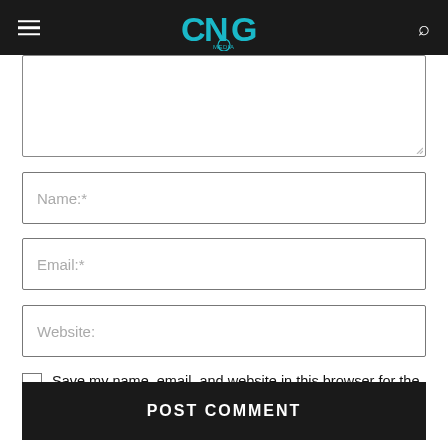CNG Media
[Figure (screenshot): Comment text area input field (partially visible at top)]
Name:*
Email:*
Website:
Save my name, email, and website in this browser for the next time I comment.
POST COMMENT